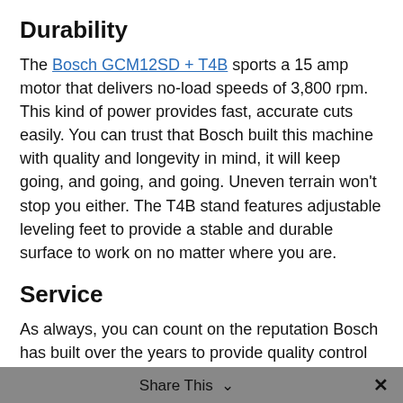Durability
The Bosch GCM12SD + T4B sports a 15 amp motor that delivers no-load speeds of 3,800 rpm.  This kind of power provides fast, accurate cuts easily.  You can trust that Bosch built this machine with quality and longevity in mind, it will keep going, and going, and going.  Uneven terrain won't stop you either.  The T4B stand features adjustable leveling feet to provide a stable and durable surface to work on no matter where you are.
Service
As always, you can count on the reputation Bosch has built over the years to provide quality control as well as solid customer service if anything goes wrong.  This particular saw has a 30-Day money back guarantee as well as a 1-Year warranty.
Included in the box:
Share This  ×